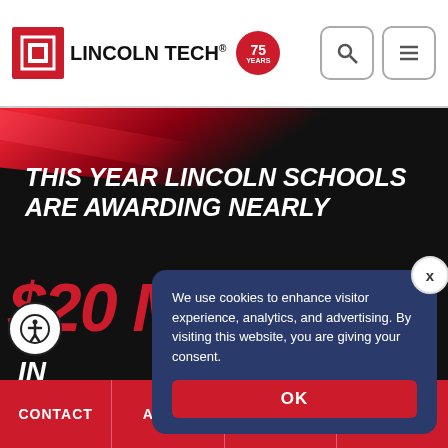Lincoln Tech® 75 Years
[Figure (screenshot): Lincoln Tech website screenshot showing a dark hero banner with red accent streak, large white text reading 'THIS YEAR LINCOLN SCHOOLS ARE AWARDING NEARLY', large red text '$20 MILLION', and partial text 'IN... IPS' and 'EXT!' visible behind a cookie consent popup overlay.]
We use cookies to enhance visitor experience, analytics, and advertising. By visiting this website, you are giving your consent.
OK
CONTACT   APPLY   CALL   CHAT